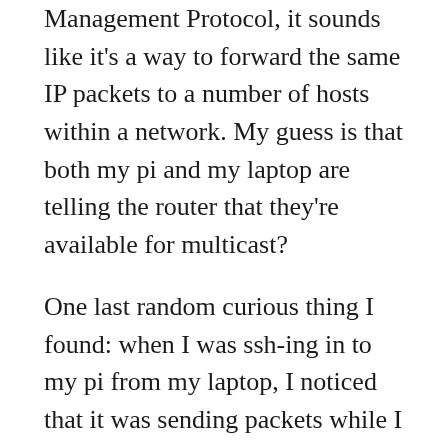Management Protocol, it sounds like it's a way to forward the same IP packets to a number of hosts within a network. My guess is that both my pi and my laptop are telling the router that they're available for multicast?
One last random curious thing I found: when I was ssh-ing in to my pi from my laptop, I noticed that it was sending packets while I was typing on the command line, not just when I submitted a command, which is not what I expected.
My understanding still feels very fuzzy, and I don't know why I didn't see any packets coming to or from my pi when I run the program that tweets. I think it'll take me a